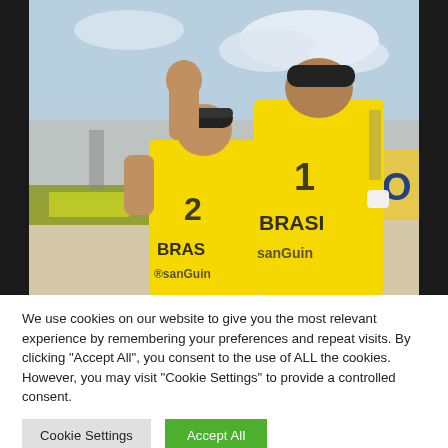[Figure (photo): Two Brazilian beach volleyball players wearing yellow BRASIL jerseys (numbers 2 and 1) celebrating on the beach court. One player raises a fist, the other has his arm around him. Signage including 'ANO' visible in background. Sandy beach setting.]
We use cookies on our website to give you the most relevant experience by remembering your preferences and repeat visits. By clicking "Accept All", you consent to the use of ALL the cookies. However, you may visit "Cookie Settings" to provide a controlled consent.
Cookie Settings
Accept All